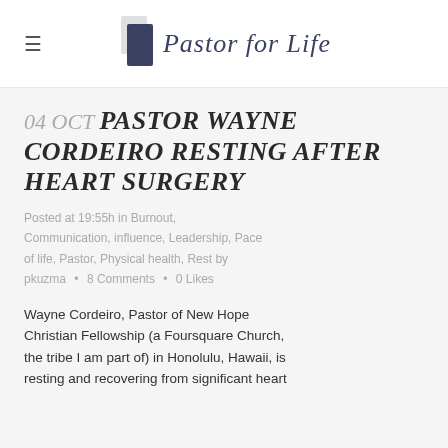Pastor for Life
04 OCT PASTOR WAYNE CORDEIRO RESTING AFTER HEART SURGERY
Posted at 19:55h in Burnout, Communication, influence, Leadership, Pace of life, Pastor, Physical health, Rest by pkuzma • 8 Comments • 0 Likes
Wayne Cordeiro, Pastor of New Hope Christian Fellowship (a Foursquare Church, the tribe I am part of) in Honolulu, Hawaii, is resting and recovering from significant heart